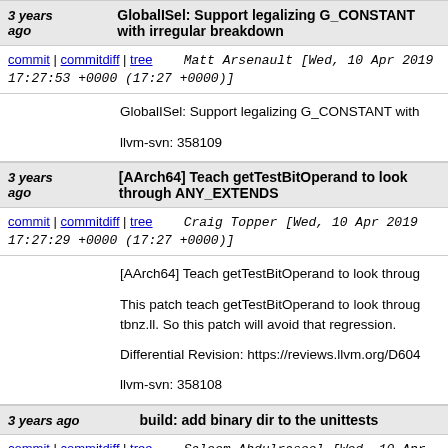3 years ago   GlobalISel: Support legalizing G_CONSTANT with irregular breakdown
commit | commitdiff | tree   Matt Arsenault [Wed, 10 Apr 2019 17:27:53 +0000 (17:27 +0000)]
GlobalISel: Support legalizing G_CONSTANT with

llvm-svn: 358109
3 years ago   [AArch64] Teach getTestBitOperand to look through ANY_EXTENDS
commit | commitdiff | tree   Craig Topper [Wed, 10 Apr 2019 17:27:29 +0000 (17:27 +0000)]
[AArch64] Teach getTestBitOperand to look through

This patch teach getTestBitOperand to look through tbnz.ll. So this patch will avoid that regression.

Differential Revision: https://reviews.llvm.org/D604

llvm-svn: 358108
3 years ago   build: add binary dir to the unittests
commit | commitdiff | tree   Saleem Abdulrasool [Wed, 10 Apr 2019 17:25:14 +0000 (17:25 +0000)]